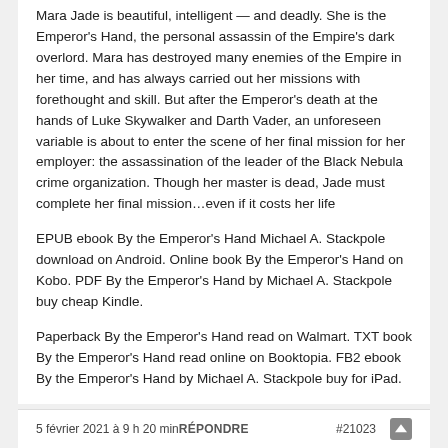Mara Jade is beautiful, intelligent — and deadly. She is the Emperor's Hand, the personal assassin of the Empire's dark overlord. Mara has destroyed many enemies of the Empire in her time, and has always carried out her missions with forethought and skill. But after the Emperor's death at the hands of Luke Skywalker and Darth Vader, an unforeseen variable is about to enter the scene of her final mission for her employer: the assassination of the leader of the Black Nebula crime organization. Though her master is dead, Jade must complete her final mission…even if it costs her life
EPUB ebook By the Emperor's Hand Michael A. Stackpole download on Android. Online book By the Emperor's Hand on Kobo. PDF By the Emperor's Hand by Michael A. Stackpole buy cheap Kindle.
Paperback By the Emperor's Hand read on Walmart. TXT book By the Emperor's Hand read online on Booktopia. FB2 ebook By the Emperor's Hand by Michael A. Stackpole buy for iPad.
5 février 2021 à 9 h 20 min RÉPONDRE #21023